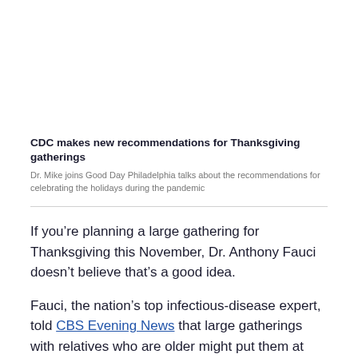CDC makes new recommendations for Thanksgiving gatherings
Dr. Mike joins Good Day Philadelphia talks about the recommendations for celebrating the holidays during the pandemic
If you’re planning a large gathering for Thanksgiving this November, Dr. Anthony Fauci doesn’t believe that’s a good idea.
Fauci, the nation’s top infectious-disease expert, told CBS Evening News that large gatherings with relatives who are older might put them at risk of spreading COVID-19.